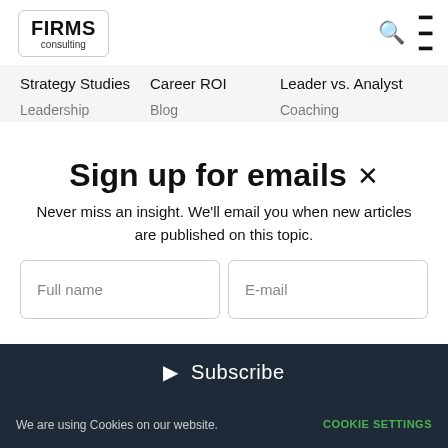FIRMS consulting
Strategy Studies   Career ROI   Leader vs. Analyst
Leadership   Blog   Coaching
Sign up for emails
Never miss an insight. We'll email you when new articles are published on this topic.
Full name
E-mail
Subscribe
We are using Cookies on our website.   COOKIE SETTINGS